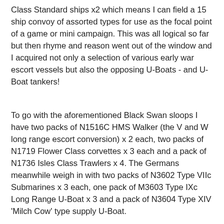Class Standard ships x2 which means I can field a 15 ship convoy of assorted types for use as the focal point of a game or mini campaign. This was all logical so far but then rhyme and reason went out of the window and I acquired not only a selection of various early war escort vessels but also the opposing U-Boats - and U-Boat tankers!
To go with the aforementioned Black Swan sloops I have two packs of N1516C HMS Walker (the V and W long range escort conversion) x 2 each, two packs of N1719 Flower Class corvettes x 3 each and a pack of N1736 Isles Class Trawlers x 4. The Germans meanwhile weigh in with two packs of N3602 Type VIIc Submarines x 3 each, one pack of M3603 Type IXc Long Range U-Boat x 3 and a pack of N3604 Type XIV 'Milch Cow' type supply U-Boat.
The running of convoys across the Atlantic was a grim and demanding business - far away from the 'glamour' of the big ship battles but every bit as important - if not more so. The cat and mouse chasing of the U-Boats is a difficult